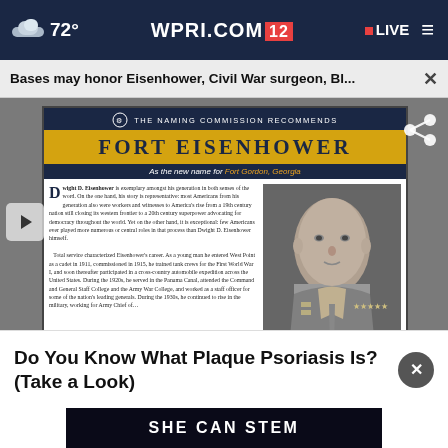72° WPRI.COM 12 LIVE
Bases may honor Eisenhower, Civil War surgeon, Bl... ×
[Figure (screenshot): Fort Eisenhower naming commission recommendation card with photo of Dwight D. Eisenhower in military uniform]
Do You Know What Plaque Psoriasis Is? (Take a Look)
SHE CAN STEM